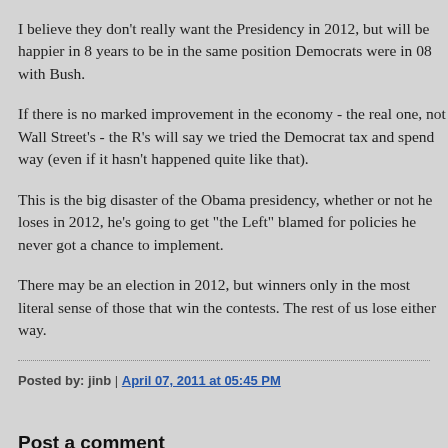I believe they don't really want the Presidency in 2012, but will be happier in 8 years to be in the same position Democrats were in 08 with Bush.
If there is no marked improvement in the economy - the real one, not Wall Street's - the R's will say we tried the Democrat tax and spend way (even if it hasn't happened quite like that).
This is the big disaster of the Obama presidency, whether or not he loses in 2012, he's going to get "the Left" blamed for policies he never got a chance to implement.
There may be an election in 2012, but winners only in the most literal sense of those that win the contests. The rest of us lose either way.
Posted by: jinb | April 07, 2011 at 05:45 PM
Post a comment